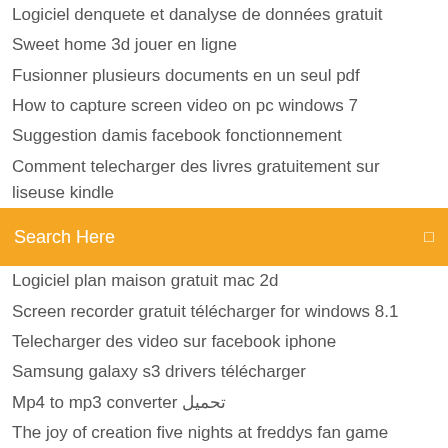Logiciel denquete et danalyse de données gratuit
Sweet home 3d jouer en ligne
Fusionner plusieurs documents en un seul pdf
How to capture screen video on pc windows 7
Suggestion damis facebook fonctionnement
Comment telecharger des livres gratuitement sur liseuse kindle
Search Here
Logiciel plan maison gratuit mac 2d
Screen recorder gratuit télécharger for windows 8.1
Telecharger des video sur facebook iphone
Samsung galaxy s3 drivers télécharger
Mp4 to mp3 converter تحميل
The joy of creation five nights at freddys fan game
Jeu gratuit tablette samsung
Jeux de pilote davion aéroport décollage et atterrissage
Logiciel gratuit test debit internet
Get windows 7 theme for windows 10